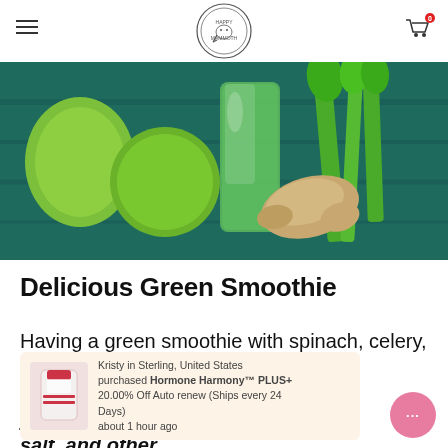Happy Mammoth logo, hamburger menu, cart icon
[Figure (photo): A green smoothie in a glass jar surrounded by fresh ingredients including lime, apple, ginger root, and celery stalks on a teal wooden surface]
Delicious Green Smoothie
Having a green smoothie with spinach, celery, ginger,
[Figure (screenshot): Popup notification: Kristy in Sterling, United States purchased Hormone Harmony™ PLUS+ 20.00% Off Auto renew (Ships every 24 Days) about 1 hour ago]
your body get rid of excess sugar, salt, and other